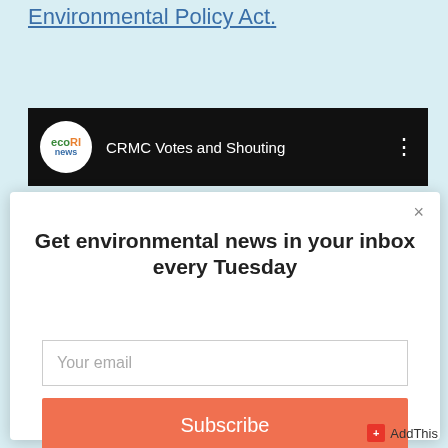Environmental Policy Act.
[Figure (screenshot): ecoRI news video thumbnail bar showing 'CRMC Votes and Shouting' with three-dot menu icon on black background]
[Figure (screenshot): Modal popup with headline 'Get environmental news in your inbox every Tuesday', email input field with placeholder 'Your email', and a salmon-colored Subscribe button]
AddThis